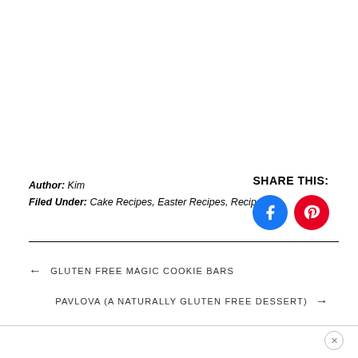Author: Kim
Filed Under: Cake Recipes, Easter Recipes, Recipes
SHARE THIS:
[Figure (other): Facebook and Pinterest share icon buttons (circles)]
← GLUTEN FREE MAGIC COOKIE BARS
PAVLOVA (A NATURALLY GLUTEN FREE DESSERT) →